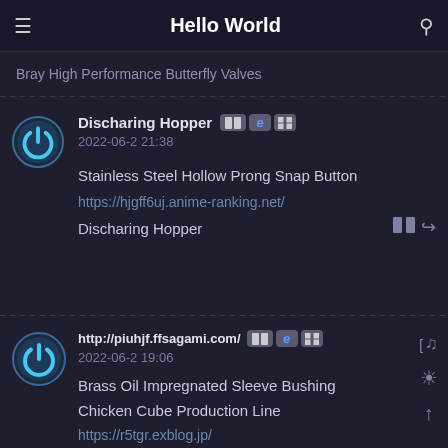Hello World
Bray High Performance Butterfly Valves
Discharing Hopper  2022-06-2 21:38
Stainless Steel Hollow Prong Snap Button
https://hjgff6uj.anime-ranking.net/
Discharing Hopper
http://piuhjf.ffsagami.com/  2022-06-2 19:06
Brass Oil Impregnated Sleeve Bushing
Chicken Cube Production Line
https://r5tgr.exblog.jp/